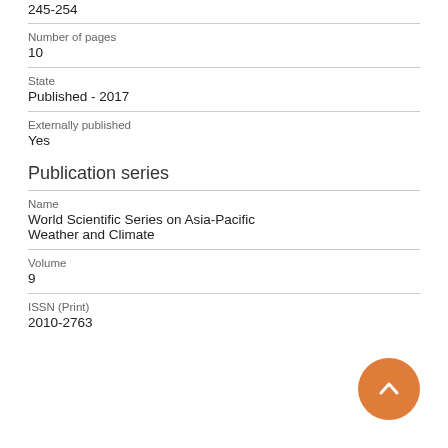245-254
Number of pages
10
State
Published - 2017
Externally published
Yes
Publication series
Name
World Scientific Series on Asia-Pacific Weather and Climate
Volume
9
ISSN (Print)
2010-2763